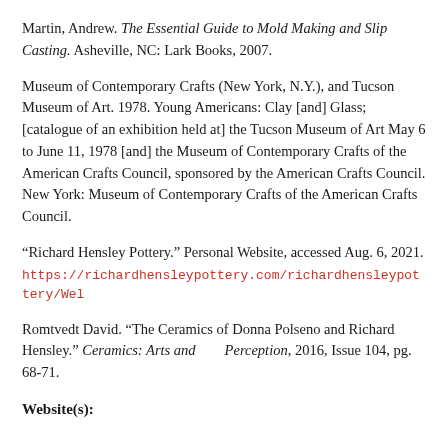Martin, Andrew. The Essential Guide to Mold Making and Slip Casting. Asheville, NC: Lark Books, 2007.
Museum of Contemporary Crafts (New York, N.Y.), and Tucson Museum of Art. 1978. Young Americans: Clay [and] Glass; [catalogue of an exhibition held at] the Tucson Museum of Art May 6 to June 11, 1978 [and] the Museum of Contemporary Crafts of the American Crafts Council, sponsored by the American Crafts Council. New York: Museum of Contemporary Crafts of the American Crafts Council.
“Richard Hensley Pottery.” Personal Website, accessed Aug. 6, 2021. https://richardhensleypottery.com/richardhensleypottery/Wel
Romtvedt David. “The Ceramics of Donna Polseno and Richard Hensley.” Ceramics: Arts and        Perception, 2016, Issue 104, pg. 68-71.
Website(s):